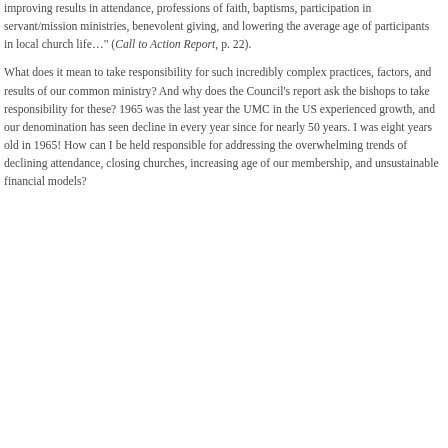improving results in attendance, professions of faith, baptisms, participation in servant/mission ministries, benevolent giving, and lowering the average age of participants in local church life…" (Call to Action Report, p. 22).
What does it mean to take responsibility for such incredibly complex practices, factors, and results of our common ministry?  And why does the Council's report ask the bishops to take responsibility for these?  1965 was the last year the UMC in the US experienced growth, and our denomination has seen decline in every year since for nearly 50 years.  I was eight years old in 1965!  How can I be held responsible for addressing the overwhelming trends of declining attendance, closing churches, increasing age of our membership, and unsustainable financial models?